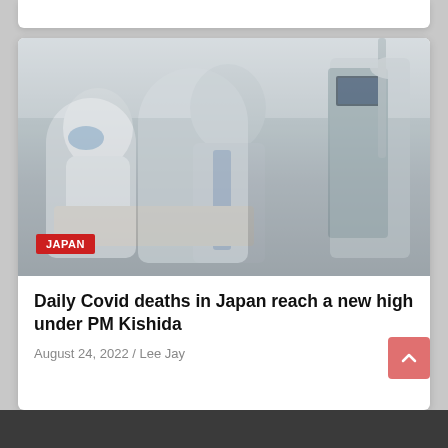[Figure (photo): Hospital ICU scene with medical staff in PPE (gowns, masks, caps) attending to a patient in a hospital bed. Medical equipment visible on the right side. A red 'JAPAN' label badge is overlaid in the bottom-left corner of the image.]
Daily Covid deaths in Japan reach a new high under PM Kishida
August 24, 2022 / Lee Jay